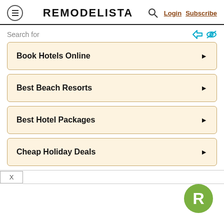REMODELISTA — Login  Subscribe
Search for
Book Hotels Online
Best Beach Resorts
Best Hotel Packages
Cheap Holiday Deals
[Figure (logo): Remodelista green circle logo with white letter R]